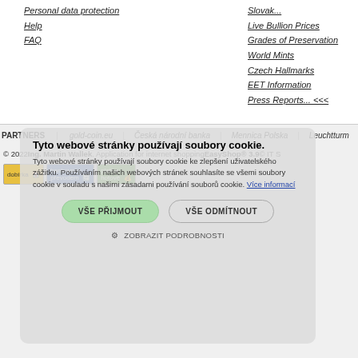Personal data protection
Help
FAQ
Slovak...
Live Bullion Prices
Grades of Preservation
World Mints
Czech Hallmarks
EET Information
Press Reports... <<<
PARTNERS   gold-coin.eu   Česká národní banka   Mennica Polska   Leuchtturm
© 2022 Ing. Martin Wallek . Application for internet shopping EasyShop® 3.9 © IT S
[Figure (screenshot): Payment method icons: dobírka (cash on delivery), bankovním převodem (bank transfer), platba hotově (cash payment)]
Tyto webové stránky používají soubory cookie.

Tyto webové stránky používají soubory cookie ke zlepšení uživatelského zážitku. Používáním našich webových stránek souhlasíte se všemi soubory cookie v souladu s našimi zásadami používání souborů cookie. Více informací
VŠE PŘIJMOUT
VŠE ODMÍTNOUT
ZOBRAZIT PODROBNOSTI